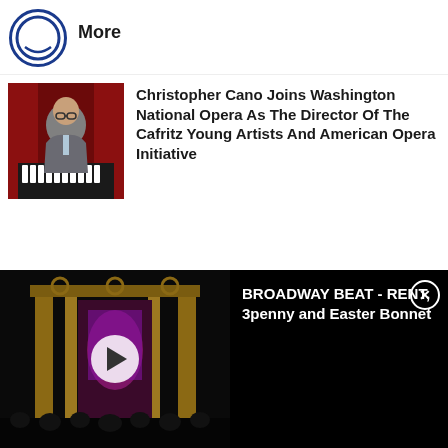[Figure (logo): Partial circular logo/icon visible at top left, blue circle outline]
More
[Figure (photo): Photo of Christopher Cano, a man in a suit leaning on a piano with red curtains in background]
Christopher Cano Joins Washington National Opera As The Director Of The Cafritz Young Artists And American Opera Initiative
[Figure (photo): Video thumbnail showing a theater stage with red lighting and empty seats, with play button overlay]
BROADWAY BEAT - RENT, 3penny and Easter Bonnet